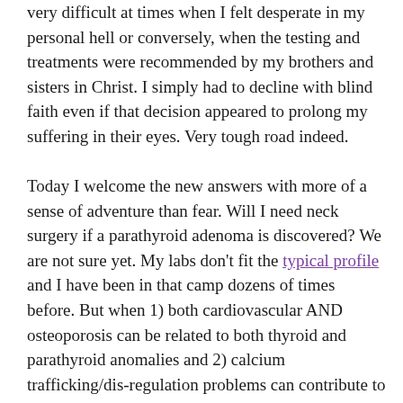very difficult at times when I felt desperate in my personal hell or conversely, when the testing and treatments were recommended by my brothers and sisters in Christ. I simply had to decline with blind faith even if that decision appeared to prolong my suffering in their eyes. Very tough road indeed.

Today I welcome the new answers with more of a sense of adventure than fear. Will I need neck surgery if a parathyroid adenoma is discovered? We are not sure yet. My labs don't fit the typical profile and I have been in that camp dozens of times before. But when 1) both cardiovascular AND osteoporosis can be related to both thyroid and parathyroid anomalies and 2) calcium trafficking/dis-regulation problems can contribute to neurological symptoms, then it seems logical that both would need to be addressed. Incredible. Separate body